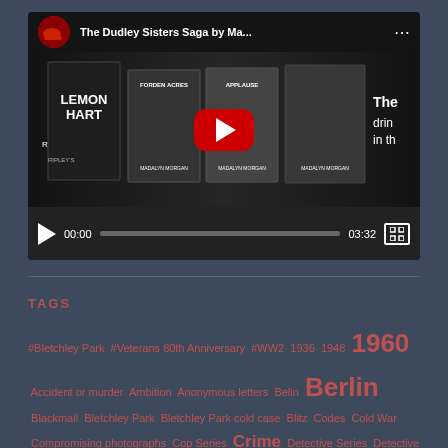[Figure (screenshot): YouTube video player showing 'The Dudley Sisters Saga by Ma...' with book covers in the thumbnail, play button overlay, and controls bar showing 00:00 / 03:32]
TAGS
#Bletchley Park #Veterans 80th Anniversary #WW2 1936 1948 1960 Accident or murder Ambition Anonymous letters Belin Berlin Blackmail Bletchley Park Bletchley Park cold case Blitz Codes Cold War Compromising photographs Cop Series Crime Detective Series Detective Thriller Old Bailey DI Hunter